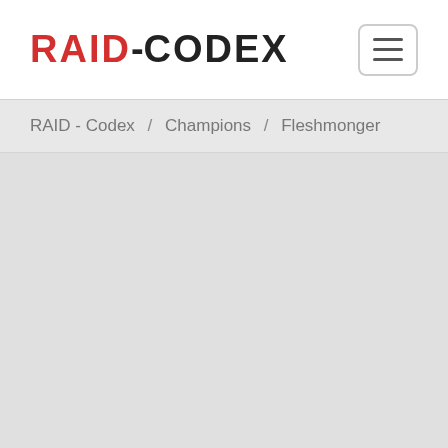RAID-CODEX
RAID - Codex / Champions / Fleshmonger